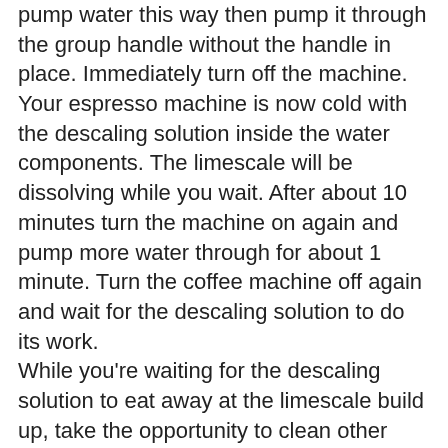pump water this way then pump it through the group handle without the handle in place. Immediately turn off the machine.
Your espresso machine is now cold with the descaling solution inside the water components. The limescale will be dissolving while you wait. After about 10 minutes turn the machine on again and pump more water through for about 1 minute. Turn the coffee machine off again and wait for the descaling solution to do its work.
While you're waiting for the descaling solution to eat away at the limescale build up, take the opportunity to clean other parts of your coffee machine. Pull apart your group handle and clean it out. Get all the burnt milk off the steam spout and wipe the outside of the machine.
Keep repeating the steps above until the water reservoir is empty. All the solution should have been pumped through the machine and the limescale will have been removed. This should take about 5 cycles and about 1 hour.
You now need to clean the bitter tasting descaler from your espresso machine. Thoroughly rinse the water